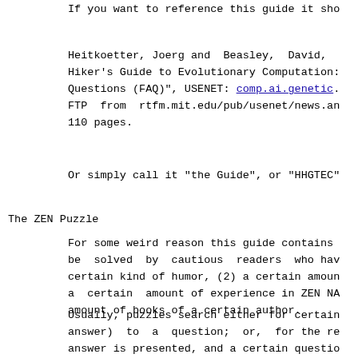If you want to reference this guide it sho
Heitkoetter, Joerg and  Beasley,  David,
Hiker's Guide to Evolutionary Computation:
Questions (FAQ)", USENET: comp.ai.genetic.
FTP  from  rtfm.mit.edu/pub/usenet/news.an
110 pages.
Or simply call it "the Guide", or "HHGTEC"
The ZEN Puzzle
For some weird reason this guide contains
be  solved  by  cautious  readers  who hav
certain kind of humor, (2) a certain amoun
a  certain  amount of experience in ZEN NA
amount of books of a certain author.
Usually, puzzles search either for certain
answer)  to  a  question;  or,  for the re
answer is presented, and a certain questio